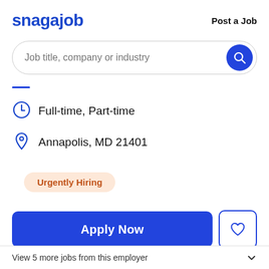snagajob   Post a Job
[Figure (screenshot): Search bar with placeholder text 'Job title, company or industry' and a blue circular search button with magnifying glass icon]
Full-time, Part-time
Annapolis, MD 21401
Urgently Hiring
Apply Now
View 5 more jobs from this employer